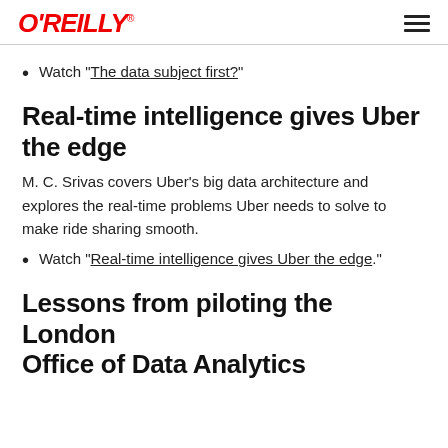O'REILLY
Watch "The data subject first?"
Real-time intelligence gives Uber the edge
M. C. Srivas covers Uber's big data architecture and explores the real-time problems Uber needs to solve to make ride sharing smooth.
Watch "Real-time intelligence gives Uber the edge."
Lessons from piloting the London Office of Data Analytics